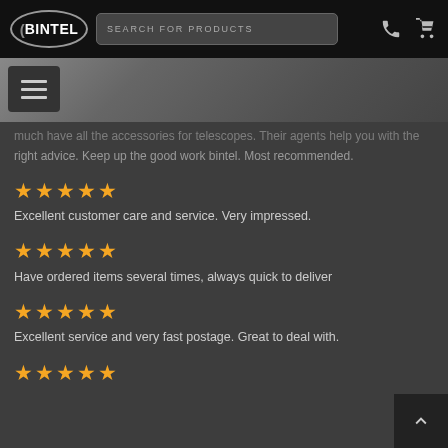[Figure (logo): Bintel logo in oval on black navbar with search bar and icons]
much have all the accessories for telescopes. Their agents help you with the right advice. Keep up the good work bintel. Most recommended.
★★★★★ Excellent customer care and service. Very impressed.
★★★★★ Have ordered items several times, always quick to deliver
★★★★★ Excellent service and very fast postage. Great to deal with.
★★★★★